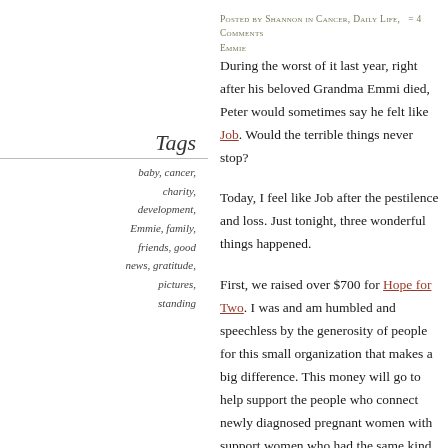Posted by Shannon in Cancer, Daily Life,  = 4 Comments Emmie
During the worst of it last year, right after his beloved Grandma Emmi died, Peter would sometimes say he felt like Job. Would the terrible things never stop?
Tags
baby, cancer, charity, development, Emmie, family, friends, good news, gratitude, pictures, standing
Today, I feel like Job after the pestilence and loss. Just tonight, three wonderful things happened.
First, we raised over $700 for Hope for Two. I was and am humbled and speechless by the generosity of people for this small organization that makes a big difference. This money will go to help support the people who connect newly diagnosed pregnant women with support women who had the same kind of cancer. It will go to pay postage to mail information to those women, including articles about cancer during pregnancy. Maybe it will help them reach out to more